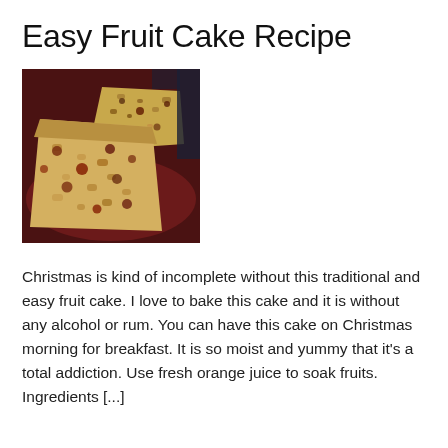Easy Fruit Cake Recipe
[Figure (photo): Slices of fruit cake on a dark red/burgundy plate, showing golden-yellow sponge with embedded fruit pieces, viewed from above at a slight angle]
Christmas is kind of incomplete without this traditional and easy fruit cake. I love to bake this cake and it is without any alcohol or rum. You can have this cake on Christmas morning for breakfast. It is so moist and yummy that it's a total addiction. Use fresh orange juice to soak fruits. Ingredients [...]